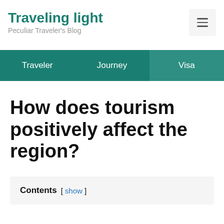Traveling light — Peculiar Traveler's Blog
Traveler | Journey | Visa
How does tourism positively affect the region?
Contents [ show ]